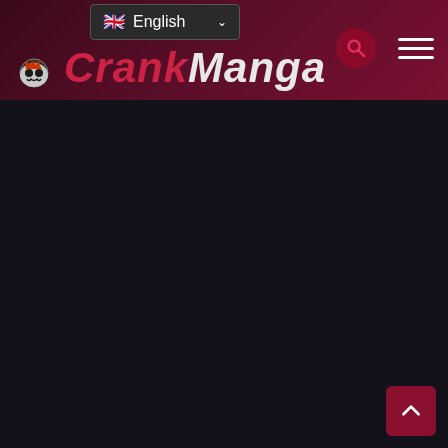[Figure (screenshot): Website header bar with dark red/maroon gradient background. Contains a language selector dropdown showing 'English' with UK flag, the CrankManga logo with skull icon in red italic text, a search button (circular, dark red), and a hamburger menu icon on the right.]
🔥 HOT NOVELS   ◈ FANTASY   📋 ACTION
[Figure (screenshot): Dark background main content area that is mostly empty/loading. Contains a back-to-top button (dark red square with upward arrow) in the bottom-right corner.]